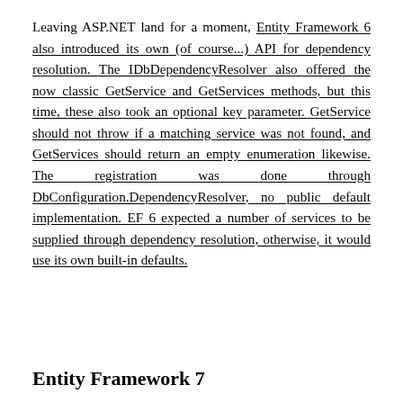Leaving ASP.NET land for a moment, Entity Framework 6 also introduced its own (of course...) API for dependency resolution. The IDbDependencyResolver also offered the now classic GetService and GetServices methods, but this time, these also took an optional key parameter. GetService should not throw if a matching service was not found, and GetServices should return an empty enumeration likewise. The registration was done through DbConfiguration.DependencyResolver, no public default implementation. EF 6 expected a number of services to be supplied through dependency resolution, otherwise, it would use its own built-in defaults.
Entity Framework 7